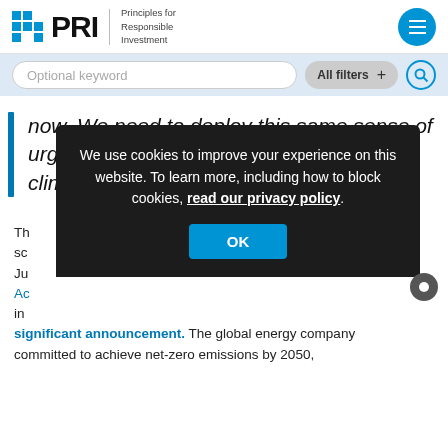PRI — Principles for Responsible Investment
Optional keyword | All filters + [search icon]
now. We need to deploy this same sense of urgency and collective action to tackle the climate emergency.
Th... sc... Ju... Ac... in... significant announcement. The global energy company committed to achieve net-zero emissions by 2050,
We use cookies to improve your experience on this website. To learn more, including how to block cookies, read our privacy policy. [OK button]